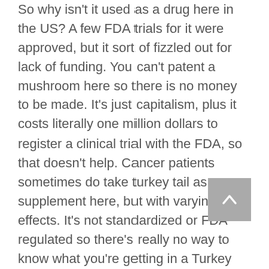So why isn't it used as a drug here in the US? A few FDA trials for it were approved, but it sort of fizzled out for lack of funding. You can't patent a mushroom here so there is no money to be made. It's just capitalism, plus it costs literally one million dollars to register a clinical trial with the FDA, so that doesn't help. Cancer patients sometimes do take turkey tail as a supplement here, but with varying effects. It's not standardized or FDA regulated so there's really no way to know what you're getting in a Turkey Tail supplement unfortunately.
That would have been the end of the story.  I would have just said, "Oh well, big pharma, that's life in America," but I decided to make myself some Turkey Tail